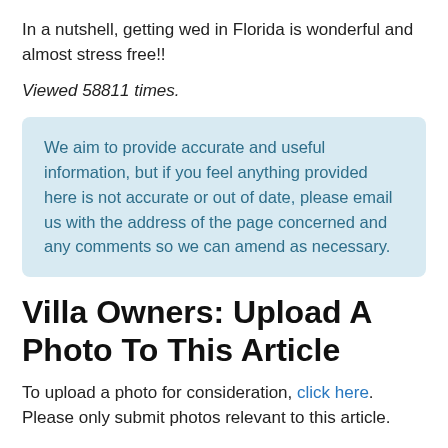In a nutshell, getting wed in Florida is wonderful and almost stress free!!
Viewed 58811 times.
We aim to provide accurate and useful information, but if you feel anything provided here is not accurate or out of date, please email us with the address of the page concerned and any comments so we can amend as necessary.
Villa Owners: Upload A Photo To This Article
To upload a photo for consideration, click here. Please only submit photos relevant to this article.
Other Articles Viewed